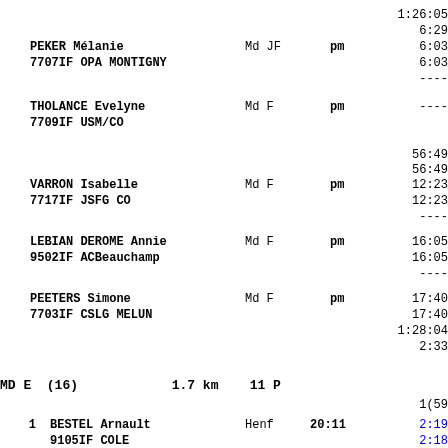1:26:05
6:29
PEKER Mélanie  Md JF  pm  6:03
7707IF OPA MONTIGNY  6:03
----
THOLANCE Evelyne  Md F  pm  ----
7709IF USM/CO
56:49
56:49
VARRON Isabelle  Md F  pm  12:23
7717IF JSFG CO  12:23
----
LEBIAN DEROME Annie  Md F  pm  16:05
9502IF ACBeauchamp  16:05
----
PEETERS Simone  Md F  pm  17:40
7703IF CSLG MELUN  17:40
1:28:04
2:33
MD E  (16)     1.7 km   11 P
1(59
1   BESTEL Arnault   Henf   20:11   2:19
9105IF COLE                      2:18